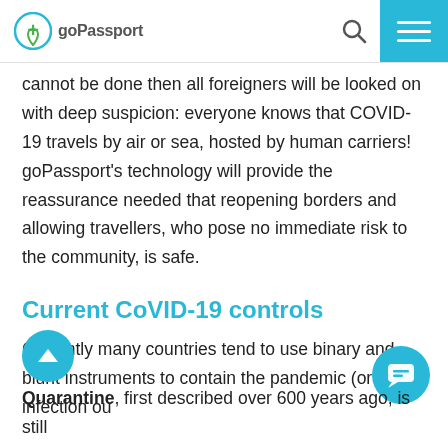goPassport
cannot be done then all foreigners will be looked on with deep suspicion: everyone knows that COVID-19 travels by air or sea, hosted by human carriers! goPassport's technology will provide the reassurance needed that reopening borders and allowing travellers, who pose no immediate risk to the community, is safe.
Current CoVID-19 controls
Currently many countries tend to use binary and blunt instruments to contain the pandemic (or keep infection ou
Quarantine, first described over 600 years ago, is still